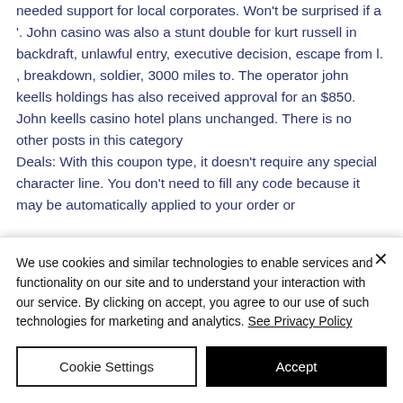needed support for local corporates. Won't be surprised if a '. John casino was also a stunt double for kurt russell in backdraft, unlawful entry, executive decision, escape from l. , breakdown, soldier, 3000 miles to. The operator john keells holdings has also received approval for an $850. John keells casino hotel plans unchanged. There is no other posts in this category
Deals: With this coupon type, it doesn't require any special character line. You don't need to fill any code because it may be automatically applied to your order or
We use cookies and similar technologies to enable services and functionality on our site and to understand your interaction with our service. By clicking on accept, you agree to our use of such technologies for marketing and analytics. See Privacy Policy